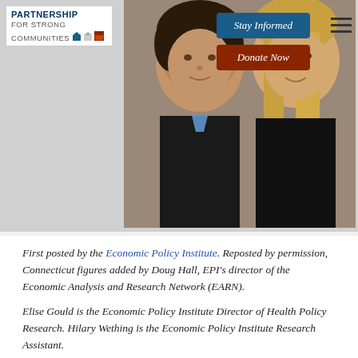[Figure (photo): Two women photographed together, one with dark curly hair and one with long blonde hair, on a grey background. Appears to be a professional headshot or editorial photo.]
[Figure (logo): Partnership for Strong Communities logo with text and building/house icons in blue and red.]
Stay Informed
Donate Now
First posted by the Economic Policy Institute. Reposted by permission, Connecticut figures added by Doug Hall, EPI's director of the Economic Analysis and Research Network (EARN).
Elise Gould is the Economic Policy Institute Director of Health Policy Research. Hilary Wething is the Economic Policy Institute Research Assistant.
NPR's Planet Money had a good story about problems with the official measure of poverty, noting the general consensus among academics, researchers, and policy analysts alike that the federal poverty line has some fundamental flaws.